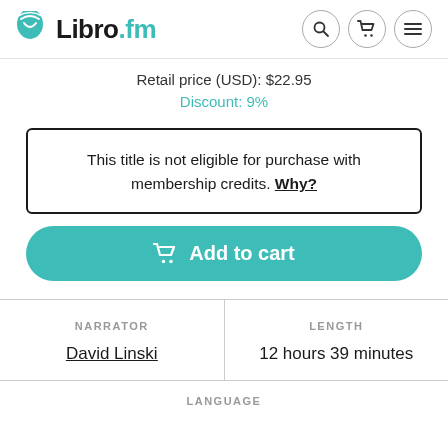Libro.fm
Retail price (USD): $22.95
Discount: 9%
This title is not eligible for purchase with membership credits. Why?
Add to cart
| NARRATOR | LENGTH |
| --- | --- |
| David Linski | 12 hours 39 minutes |
LANGUAGE